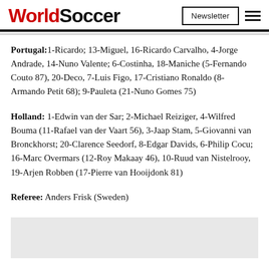WorldSoccer
Portugal: 1-Ricardo; 13-Miguel, 16-Ricardo Carvalho, 4-Jorge Andrade, 14-Nuno Valente; 6-Costinha, 18-Maniche (5-Fernando Couto 87), 20-Deco, 7-Luis Figo, 17-Cristiano Ronaldo (8-Armando Petit 68); 9-Pauleta (21-Nuno Gomes 75)
Holland: 1-Edwin van der Sar; 2-Michael Reiziger, 4-Wilfred Bouma (11-Rafael van der Vaart 56), 3-Jaap Stam, 5-Giovanni van Bronckhorst; 20-Clarence Seedorf, 8-Edgar Davids, 6-Philip Cocu; 16-Marc Overmars (12-Roy Makaay 46), 10-Ruud van Nistelrooy, 19-Arjen Robben (17-Pierre van Hooijdonk 81)
Referee: Anders Frisk (Sweden)
[Figure (other): Gray advertisement placeholder box]